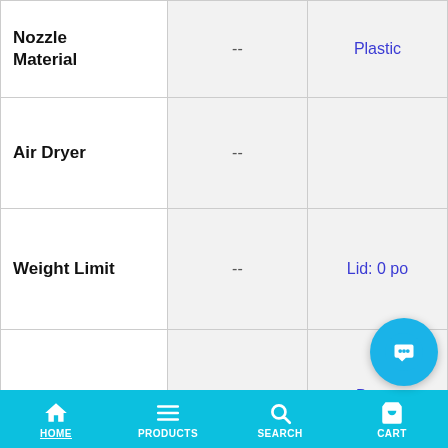| Feature | Column 2 | Column 3 |
| --- | --- | --- |
| Nozzle Material | -- | Plastic |
| Air Dryer | -- |  |
| Weight Limit | -- | Lid: 0 po |
| Wash Quality | -- | Decer
Unlimit |
| Customer Service Rating | -- |  |
HOME | PRODUCTS | SEARCH | CART